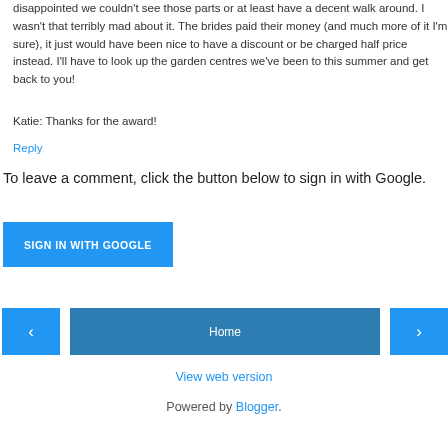disappointed we couldn't see those parts or at least have a decent walk around. I wasn't that terribly mad about it. The brides paid their money (and much more of it I'm sure), it just would have been nice to have a discount or be charged half price instead. I'll have to look up the garden centres we've been to this summer and get back to you!
Katie: Thanks for the award!
Reply
To leave a comment, click the button below to sign in with Google.
[Figure (other): Blue 'SIGN IN WITH GOOGLE' button]
[Figure (other): Navigation bar with left arrow, Home button, and right arrow in blue]
View web version
Powered by Blogger.